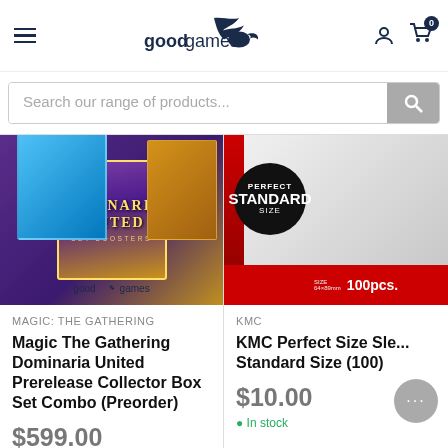goodgames
Search our range of products...
[Figure (photo): Magic The Gathering Dominaria United product box set with Good Games watermark]
MAGIC: THE GATHERING
Magic The Gathering Dominaria United Prerelease Collector Box Set Combo (Preorder)
$599.00
Preorder
[Figure (photo): KMC Perfect Size Sleeves Standard Size 100pcs product box]
KMC
KMC Perfect Size Sle... Standard Size (100)
$10.00
In stock